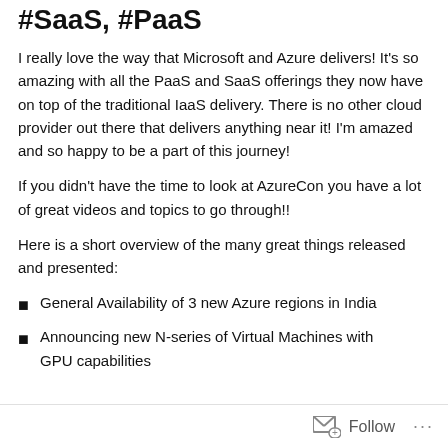#SaaS, #PaaS
I really love the way that Microsoft and Azure delivers! It’s so amazing with all the PaaS and SaaS offerings they now have on top of the traditional IaaS delivery. There is no other cloud provider out there that delivers anything near it! I’m amazed and so happy to be a part of this journey!
If you didn’t have the time to look at AzureCon you have a lot of great videos and topics to go through!!
Here is a short overview of the many great things released and presented:
General Availability of 3 new Azure regions in India
Announcing new N-series of Virtual Machines with GPU capabilities
Follow ...